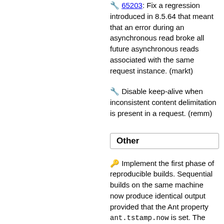🔧 65203: Fix a regression introduced in 8.5.64 that meant that an error during an asynchronous read broke all future asynchronous reads associated with the same request instance. (markt)
🔧 Disable keep-alive when inconsistent content delimitation is present in a request. (remm)
Other
🔑 Implement the first phase of reproducible builds. Sequential builds on the same machine now produce identical output provided that the Ant property ant.tstamp.now is set. The minimum